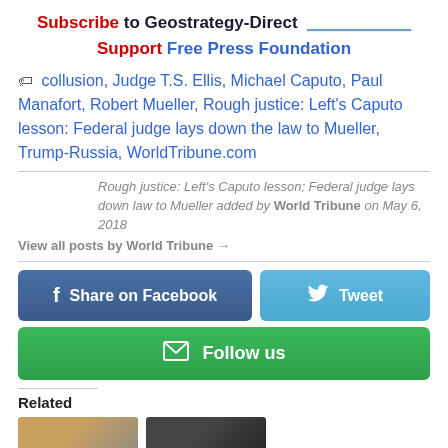Subscribe to Geostrategy-Direct ___________ Support Free Press Foundation
collusion, Judge T.S. Ellis, Michael Caputo, Paul Manafort, Robert Mueller, Rough justice: Left's Caputo lesson: Federal judge lays down the law to Mueller, Trump-Russia, WorldTribune.com
Rough justice: Left's Caputo lesson; Federal judge lays down law to Mueller added by World Tribune on May 6, 2018
View all posts by World Tribune →
[Figure (infographic): Social sharing buttons: Share on Facebook (dark blue), Tweet (light blue with Twitter bird icon), Follow us (green with envelope icon)]
Related